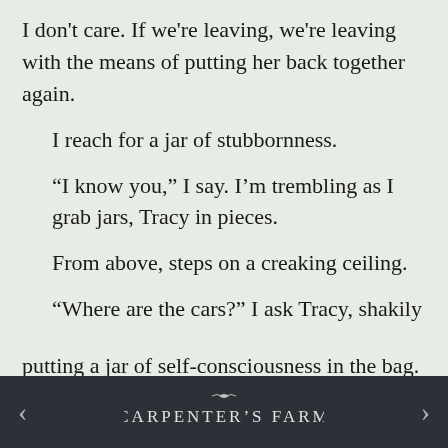I don't care. If we're leaving, we're leaving with the means of putting her back together again.
I reach for a jar of stubbornness.
“I know you,” I say. I’m trembling as I grab jars, Tracy in pieces.
From above, steps on a creaking ceiling.
“Where are the cars?” I ask Tracy, shakily putting a jar of self-consciousness in the bag.
CARPENTER’S FARM